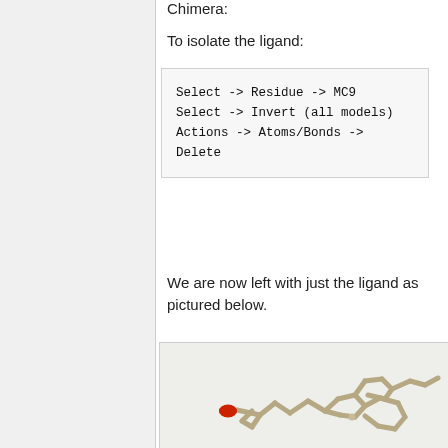Chimera:
To isolate the ligand:
Select -> Residue -> MC9
    Select -> Invert (all models)
    Actions -> Atoms/Bonds -> Delete
We are now left with just the ligand as pictured below.
[Figure (illustration): 3D molecular structure of an isolated ligand (MC9) rendered in UCSF Chimera, showing a stick model of the molecule with beige/tan colored bonds and a red oxygen atom, displayed against a light background.]